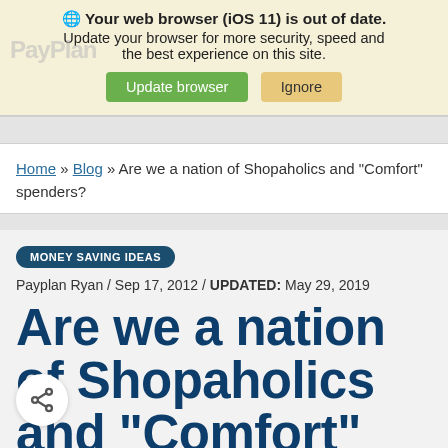Your web browser (iOS 11) is out of date. Update your browser for more security, speed and the best experience on this site. [Update browser] [Ignore]
Home » Blog » Are we a nation of Shopaholics and "Comfort" spenders?
MONEY SAVING IDEAS
Payplan Ryan / Sep 17, 2012 / UPDATED: May 29, 2019
Are we a nation of Shopaholics and "Comfort" spenders?